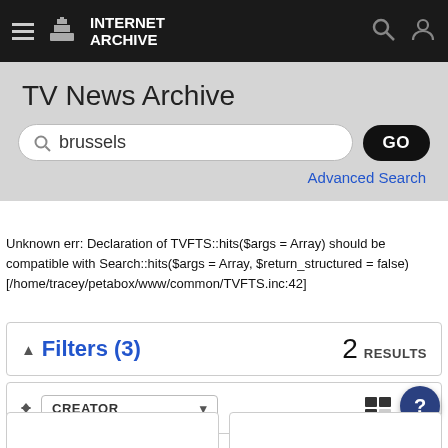Internet Archive
TV News Archive
brussels
Advanced Search
Unknown err: Declaration of TVFTS::hits($args = Array) should be compatible with Search::hits($args = Array, $return_structured = false) [/home/tracey/petabox/www/common/TVFTS.inc:42]
Filters (3)    2 RESULTS
CREATOR